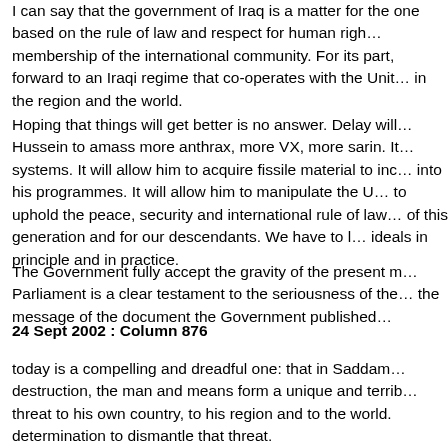I can say that the government of Iraq is a matter for the one based on the rule of law and respect for human rights and membership of the international community. For its part, forward to an Iraqi regime that co-operates with the United Nations in the region and the world.
Hoping that things will get better is no answer. Delay will allow Hussein to amass more anthrax, more VX, more sarin. It will allow him to acquire fissile material to incorporate into his programmes. It will allow him to manipulate the UN to uphold the peace, security and international rule of law of this generation and for our descendants. We have to live up to our ideals in principle and in practice.
The Government fully accept the gravity of the present moment. Parliament is a clear testament to the seriousness of the the message of the document the Government published
24 Sept 2002 : Column 876
today is a compelling and dreadful one: that in Saddam destruction, the man and means form a unique and terrible threat to his own country, to his region and to the world. determination to dismantle that threat.
As my right honourable friends the Prime Minister and Foreign our friends as much as to others—the United Nations is believe that the time may be coming when we all have to